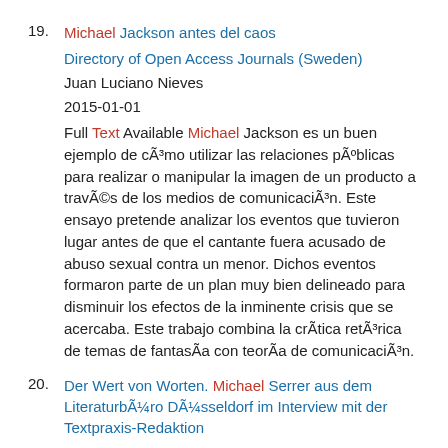19. Michael Jackson antes del caos
Directory of Open Access Journals (Sweden)
Juan Luciano Nieves
2015-01-01
Full Text Available Michael Jackson es un buen ejemplo de cÃ³mo utilizar las relaciones pÃºblicas para realizar o manipular la imagen de un producto a travÃ©s de los medios de comunicaciÃ³n. Este ensayo pretende analizar los eventos que tuvieron lugar antes de que el cantante fuera acusado de abuso sexual contra un menor. Dichos eventos formaron parte de un plan muy bien delineado para disminuir los efectos de la inminente crisis que se acercaba. Este trabajo combina la crÃ­tica retÃ³rica de temas de fantasÃa con teorÃa de comunicaciÃ³n.
20. Der Wert von Worten. Michael Serrer aus dem LiteraturbÃ¼ro DÃ¼sseldorf im Interview mit der Textpraxis-Redaktion
Directory of Open Access Journals (Sweden)